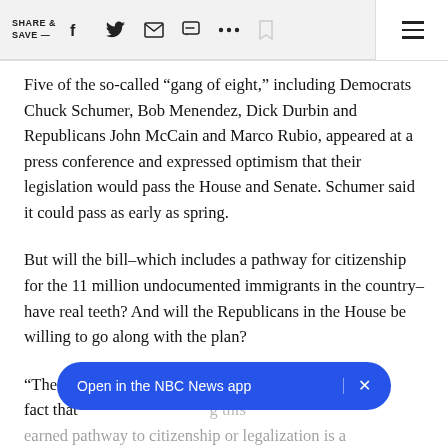SHARE & SAVE —
Five of the so-called “gang of eight,” including Democrats Chuck Schumer, Bob Menendez, Dick Durbin and Republicans John McCain and Marco Rubio, appeared at a press conference and expressed optimism that their legislation would pass the House and Senate. Schumer said it could pass as early as spring.
But will the bill–which includes a pathway for citizenship for the 11 million undocumented immigrants in the country–have real teeth? And will the Republicans in the House be willing to go along with the plan?
“The very fact that… [obscured by banner] …be very …g this earned pathway to citizenship or legalization is a
[Figure (screenshot): App banner overlay: blue rounded rectangle with text 'Open in the NBC News app' and an X close button]